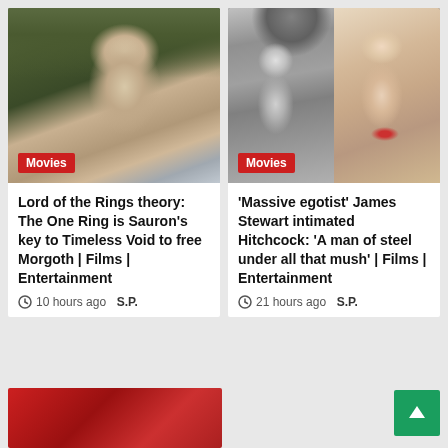[Figure (photo): Close-up of a pale elf/orc-like character with short bleached hair looking intense, from Lord of the Rings]
Movies
[Figure (photo): Split image: left side black-and-white photo of James Stewart seated; right side color portrait of a blonde woman (Grace Kelly)]
Movies
Lord of the Rings theory: The One Ring is Sauron's key to Timeless Void to free Morgoth | Films | Entertainment
10 hours ago  S.P.
'Massive egotist' James Stewart intimated Hitchcock: 'A man of steel under all that mush' | Films | Entertainment
21 hours ago  S.P.